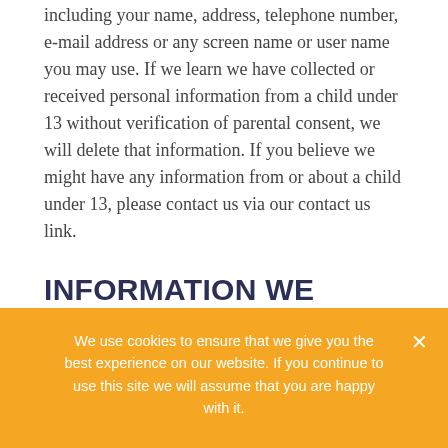including your name, address, telephone number, e-mail address or any screen name or user name you may use. If we learn we have collected or received personal information from a child under 13 without verification of parental consent, we will delete that information. If you believe we might have any information from or about a child under 13, please contact us via our contact us link.
INFORMATION WE COLLECT ABOUT YOU AND HOW WE COLLECT IT
We use cookies to ensure that we give you the best experience on our website. If you continue to use this site we will assume that you are happy with it.